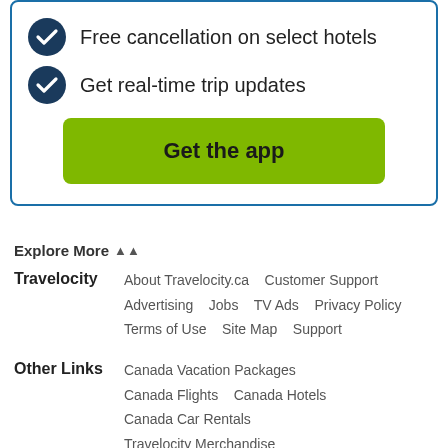Free cancellation on select hotels
Get real-time trip updates
Get the app
Explore More
Travelocity
About Travelocity.ca   Customer Support   Advertising   Jobs   TV Ads   Privacy Policy   Terms of Use   Site Map   Support
Other Links
Canada Vacation Packages   Canada Flights   Canada Hotels   Canada Car Rentals   Travelocity Merchandise   Travelocity Guarantee   Subscribe   Unique Places to Stay